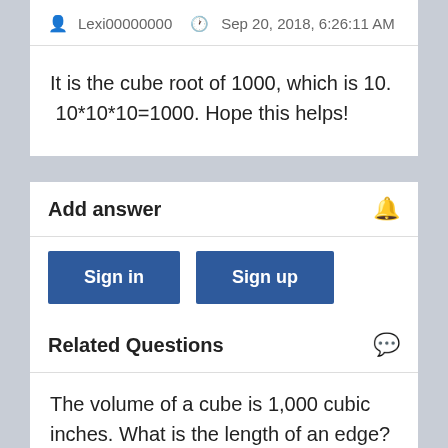Lexi00000000   Sep 20, 2018, 6:26:11 AM
It is the cube root of 1000, which is 10. 10*10*10=1000. Hope this helps!
Add answer
Sign in
Sign up
Related Questions
The volume of a cube is 1,000 cubic inches. What is the length of an edge?